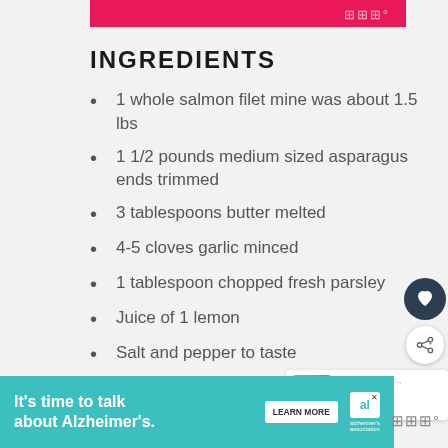INGREDIENTS
1 whole salmon filet mine was about 1.5 lbs
1 1/2 pounds medium sized asparagus ends trimmed
3 tablespoons butter melted
4-5 cloves garlic minced
1 tablespoon chopped fresh parsley
Juice of 1 lemon
Salt and pepper to taste
Fresh dill for garnish optional
OPTIONAL SAUCE:
1/2 cup plain yogurt regular or greek
[Figure (infographic): Advertisement banner for Alzheimer's awareness with teal background, text 'It's time to talk about Alzheimer's.', Learn More button, and Alzheimer's Association logo]